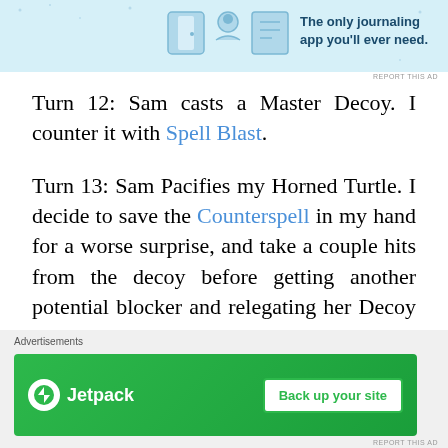[Figure (illustration): Advertisement banner at top with light blue background showing journaling app icons and text 'The only journaling app you'll ever need.']
Turn 12: Sam casts a Master Decoy. I counter it with Spell Blast.
Turn 13: Sam Pacifies my Horned Turtle. I decide to save the Counterspell in my hand for a worse surprise, and take a couple hits from the decoy before getting another potential blocker and relegating her Decoy to defensive play.
Turn 14: I cast a Wind Drake. Sam Needle Storms it the turn following.
[Figure (illustration): Advertisement at bottom showing Jetpack logo with 'Back up your site' button on green background. Labeled 'Advertisements'.]